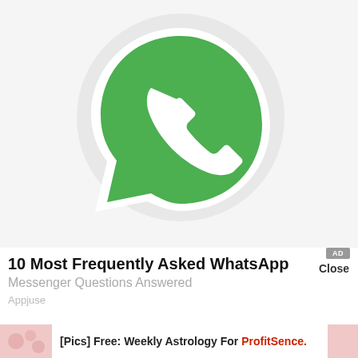[Figure (logo): WhatsApp logo: green speech bubble with white phone handset icon on a white/light gray background]
10 Most Frequently Asked WhatsApp
Messenger Questions Answered
Appjuse
AD Close
[Pics] Free: Weekly Astrology For ProfitSence.